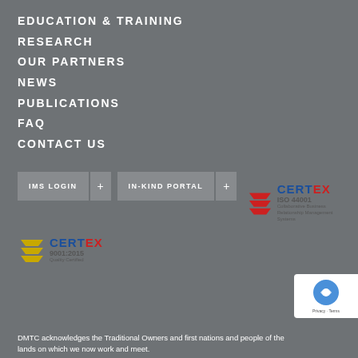EDUCATION & TRAINING
RESEARCH
OUR PARTNERS
NEWS
PUBLICATIONS
FAQ
CONTACT US
IMS LOGIN +
IN-KIND PORTAL +
[Figure (logo): CERTEX ISO 44001 Collaborative Business Relationship Management Systems logo with red chevrons]
[Figure (logo): CERTEX 9001:2015 Quality Certified logo with yellow chevrons]
[Figure (logo): reCAPTCHA Privacy - Terms badge]
DMTC acknowledges the Traditional Owners and first nations and people of the lands on which we now work and meet.